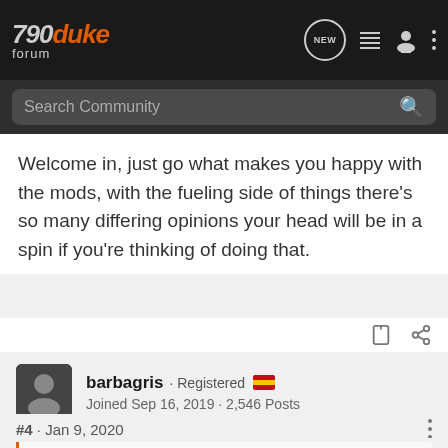790 duke forum — Search Community
Welcome in, just go what makes you happy with the mods, with the fueling side of things there's so many differing opinions your head will be in a spin if you're thinking of doing that.
barbagris · Registered 🇪🇸
Joined Sep 16, 2019 · 2,546 Posts
#4 · Jan 9, 2020
Henners said: